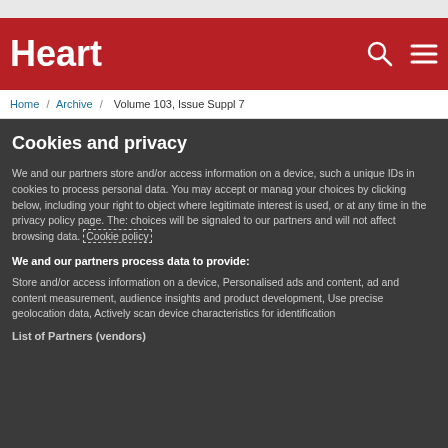Heart
Home / Archive / Volume 103, Issue Suppl 7
Cookies and privacy
We and our partners store and/or access information on a device, such as unique IDs in cookies to process personal data. You may accept or manage your choices by clicking below, including your right to object where legitimate interest is used, or at any time in the privacy policy page. These choices will be signaled to our partners and will not affect browsing data. Cookie policy
We and our partners process data to provide:
Store and/or access information on a device, Personalised ads and content, ad and content measurement, audience insights and product development, Use precise geolocation data, Actively scan device characteristics for identification
List of Partners (vendors)